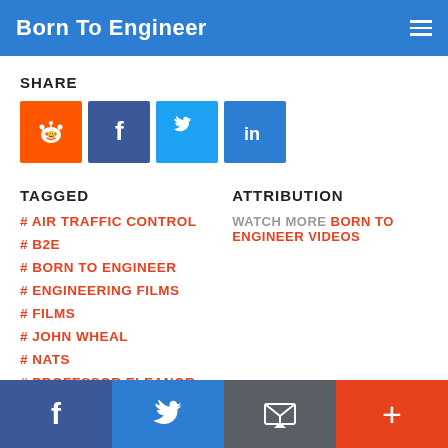Born To Engineer
SHARE
[Figure (infographic): Social share buttons: Reddit (orange), Facebook (dark blue), Twitter (light blue), LinkedIn (blue)]
TAGGED
# AIR TRAFFIC CONTROL
# B2E
# BORN TO ENGINEER
# ENGINEERING FILMS
# FILMS
# JOHN WHEAL
# NATS
# PROFESSOR ELEANOR STRIDE
ATTRIBUTION
WATCH MORE BORN TO ENGINEER VIDEOS
Footer with Facebook, Twitter, Email, and + share buttons